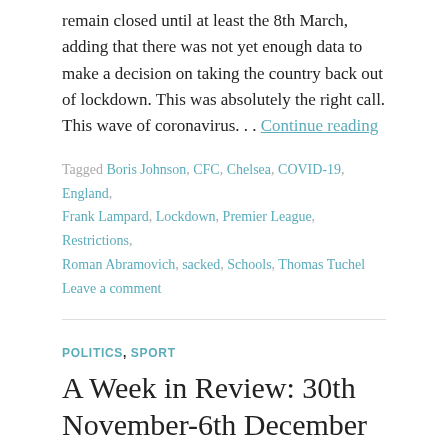remain closed until at least the 8th March, adding that there was not yet enough data to make a decision on taking the country back out of lockdown. This was absolutely the right call. This wave of coronavirus. . . Continue reading
Tagged Boris Johnson, CFC, Chelsea, COVID-19, England, Frank Lampard, Lockdown, Premier League, Restrictions, Roman Abramovich, sacked, Schools, Thomas Tuchel
Leave a comment
POLITICS, SPORT
A Week in Review: 30th November-6th December
December 8, 2020   Stewart Freer